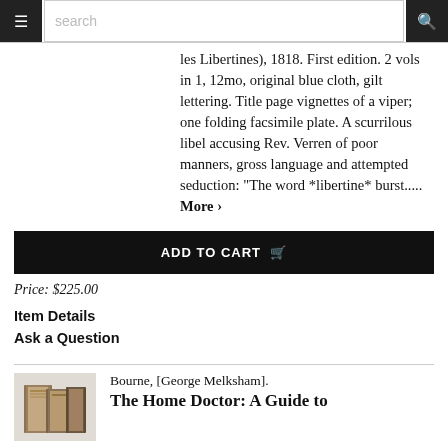search
les Libertines), 1818. First edition. 2 vols in 1, 12mo, original blue cloth, gilt lettering. Title page vignettes of a viper; one folding facsimile plate. A scurrilous libel accusing Rev. Verren of poor manners, gross language and attempted seduction: "The word *libertine* burst..... More >
ADD TO CART
Price: $225.00
Item Details
Ask a Question
Bourne, [George Melksham].
The Home Doctor: A Guide to